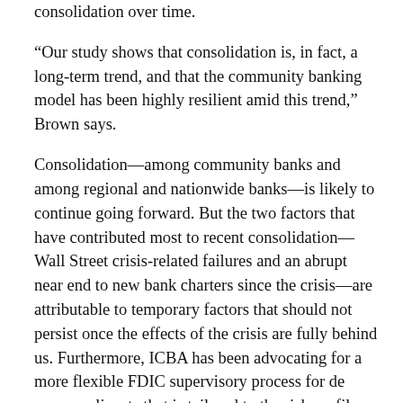consolidation over time.
“Our study shows that consolidation is, in fact, a long-term trend, and that the community banking model has been highly resilient amid this trend,” Brown says.
Consolidation—among community banks and among regional and nationwide banks—is likely to continue going forward. But the two factors that have contributed most to recent consolidation—Wall Street crisis-related failures and an abrupt near end to new bank charters since the crisis—are attributable to temporary factors that should not persist once the effects of the crisis are fully behind us. Furthermore, ICBA has been advocating for a more flexible FDIC supervisory process for de novo applicants that is tailored to the risk profile and the business plan of the applicant, and hopefully those efforts will result in more new bank charters.
After more than 30 years of dramatic industry consolidation, community banks make up 93 percent of FDIC-insured